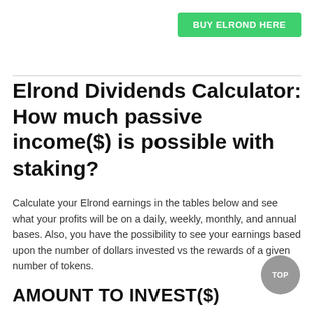BUY ELROND HERE
Elrond Dividends Calculator: How much passive income($) is possible with staking?
Calculate your Elrond earnings in the tables below and see what your profits will be on a daily, weekly, monthly, and annual bases. Also, you have the possibility to see your earnings based upon the number of dollars invested vs the rewards of a given number of tokens.
AMOUNT TO INVEST($)